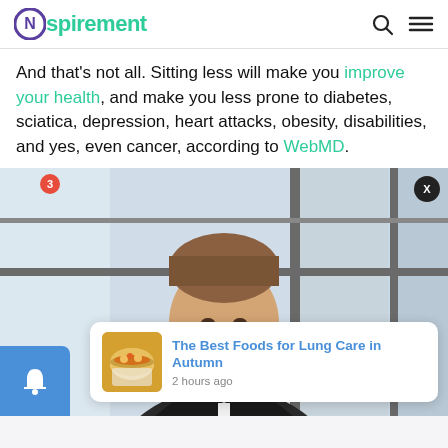Nspirement
And that's not all. Sitting less will make you improve your health, and make you less prone to diabetes, sciatica, depression, heart attacks, obesity, disabilities, and yes, even cancer, according to WebMD.
[Figure (photo): A smiling young man in a suit sitting in front of large windows, with a notification popup overlay showing 'The Best Foods for Lung Care in Autumn - 2 hours ago' and a bowl of soup image, plus a blue notification bell with badge showing 3.]